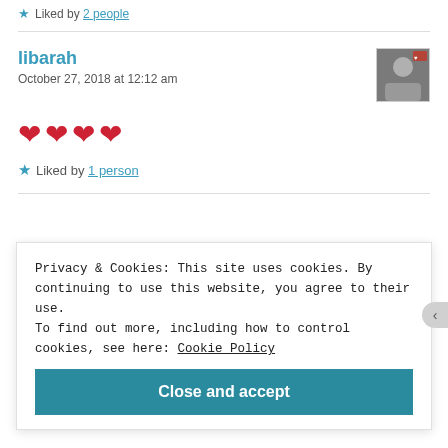★ Liked by 2 people
libarah
October 27, 2018 at 12:12 am
[Figure (illustration): User avatar thumbnail showing a person, with text overlay 'libarah']
❤❤❤❤
★ Liked by 1 person
Privacy & Cookies: This site uses cookies. By continuing to use this website, you agree to their use. To find out more, including how to control cookies, see here: Cookie Policy
Close and accept